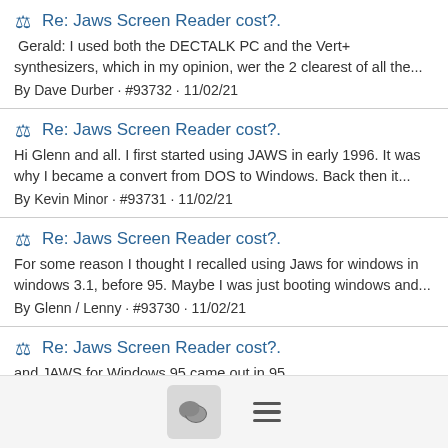Re: Jaws Screen Reader cost?. Gerald: I used both the DECTALK PC and the Vert+ synthesizers, which in my opinion, wer the 2 clearest of all the... By Dave Durber · #93732 · 11/02/21
Re: Jaws Screen Reader cost?. Hi Glenn and all. I first started using JAWS in early 1996. It was why I became a convert from DOS to Windows. Back then it... By Kevin Minor · #93731 · 11/02/21
Re: Jaws Screen Reader cost?. For some reason I thought I recalled using Jaws for windows in windows 3.1, before 95. Maybe I was just booting windows and... By Glenn / Lenny · #93730 · 11/02/21
Re: Jaws Screen Reader cost?. and JAWS for Windows 95 came out in 95. By Mario · #93729 · 11/02/21